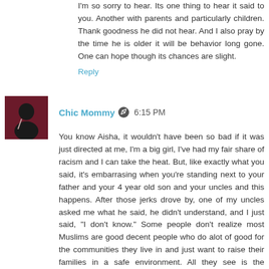I'm so sorry to hear. Its one thing to hear it said to you. Another with parents and particularly children. Thank goodness he did not hear. And I also pray by the time he is older it will be behavior long gone. One can hope though its chances are slight.
Reply
Chic Mommy  6:15 PM
You know Aisha, it wouldn't have been so bad if it was just directed at me, I'm a big girl, I've had my fair share of racism and I can take the heat. But, like exactly what you said, it's embarrasing when you're standing next to your father and your 4 year old son and your uncles and this happens. After those jerks drove by, one of my uncles asked me what he said, he didn't understand, and I just said, "I don't know." Some people don't realize most Muslims are good decent people who do alot of good for the communities they live in and just want to raise their families in a safe environment. All they see is the whackjob terrorists on TV building bombs. I hope people realize we're not all like that.